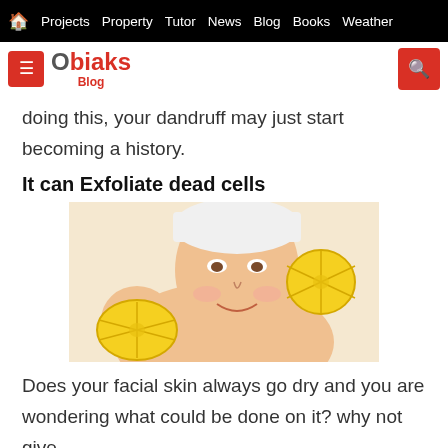🏠 Projects  Property  Tutor  News  Blog  Books  Weather
Obiaks Blog
doing this, your dandruff may just start becoming a history.
It can Exfoliate dead cells
[Figure (photo): Woman smiling and holding lemon slices near her face]
Does your facial skin always go dry and you are wondering what could be done on it? why not give